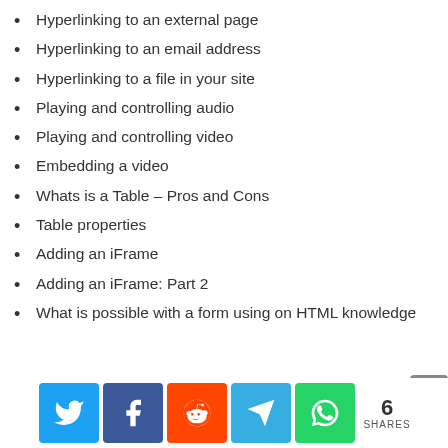Hyperlinking to an external page
Hyperlinking to an email address
Hyperlinking to a file in your site
Playing and controlling audio
Playing and controlling video
Embedding a video
Whats is a Table – Pros and Cons
Table properties
Adding an iFrame
Adding an iFrame: Part 2
What is possible with a form using on HTML knowledge